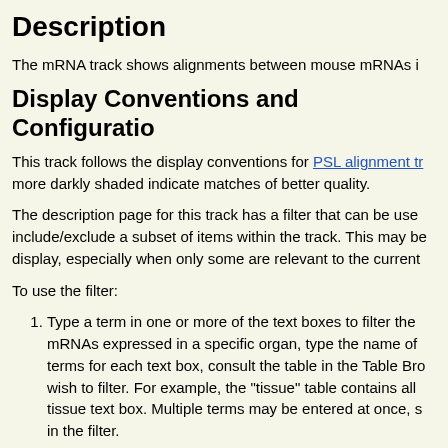Description
The mRNA track shows alignments between mouse mRNAs i...
Display Conventions and Configuration
This track follows the display conventions for PSL alignment tr... more darkly shaded indicate matches of better quality.
The description page for this track has a filter that can be used... include/exclude a subset of items within the track. This may be... display, especially when only some are relevant to the current...
To use the filter:
Type a term in one or more of the text boxes to filter the... mRNAs expressed in a specific organ, type the name of... terms for each text box, consult the table in the Table Bro... wish to filter. For example, the "tissue" table contains all... tissue text box. Multiple terms may be entered at once, s... in the filter.
If filter is...